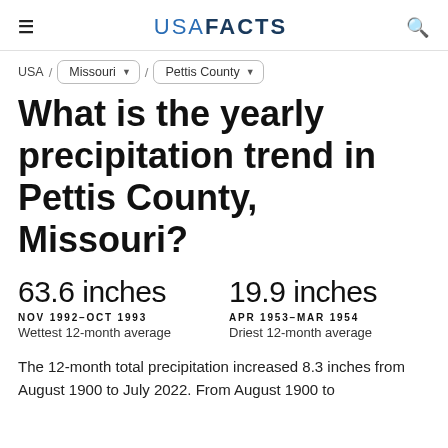USA FACTS
USA / Missouri / Pettis County
What is the yearly precipitation trend in Pettis County, Missouri?
63.6 inches NOV 1992–OCT 1993 Wettest 12-month average
19.9 inches APR 1953–MAR 1954 Driest 12-month average
The 12-month total precipitation increased 8.3 inches from August 1900 to July 2022. From August 1900 to